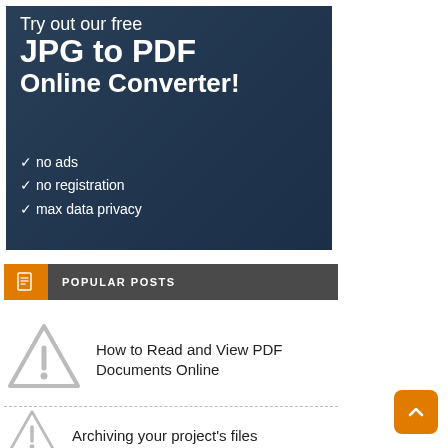[Figure (infographic): Advertisement banner for a free JPG to PDF Online Converter with dark blue background and text: 'Try out our free JPG to PDF Online Converter! ✓ no ads ✓ no registration ✓ max data privacy']
POPULAR POSTS
How to Read and View PDF Documents Online
Archiving your project's files